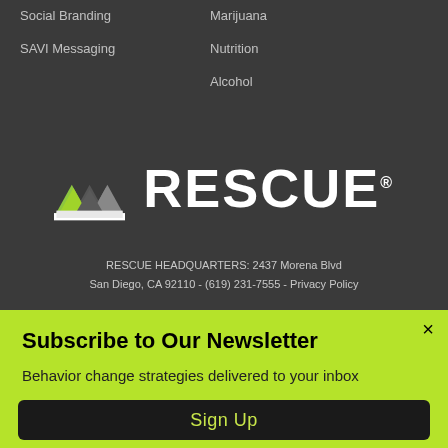Social Branding
SAVI Messaging
Marijuana
Nutrition
Alcohol
[Figure (logo): RESCUE logo — green and grey triangle icon with white text RESCUE and registered trademark symbol]
RESCUE HEADQUARTERS: 2437 Morena Blvd San Diego, CA 92110 - (619) 231-7555 - Privacy Policy
Subscribe to Our Newsletter
Behavior change strategies delivered to your inbox
Sign Up